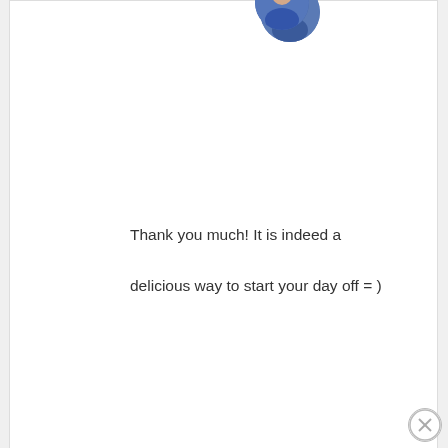[Figure (photo): Partial circular profile avatar photo at top of comment card, cropped at top edge]
Thank you much! It is indeed a delicious way to start your day off = )
Reply
Juanita Hernandez says
June 4, 2014 at 11:11 am